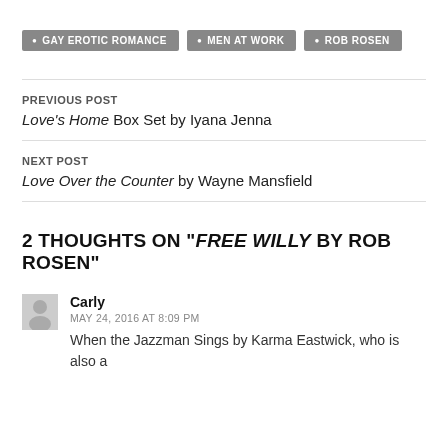GAY EROTIC ROMANCE
MEN AT WORK
ROB ROSEN
PREVIOUS POST
Love's Home Box Set by Iyana Jenna
NEXT POST
Love Over the Counter by Wayne Mansfield
2 THOUGHTS ON "FREE WILLY BY ROB ROSEN"
Carly
MAY 24, 2016 AT 8:09 PM
When the Jazzman Sings by Karma Eastwick, who is also a